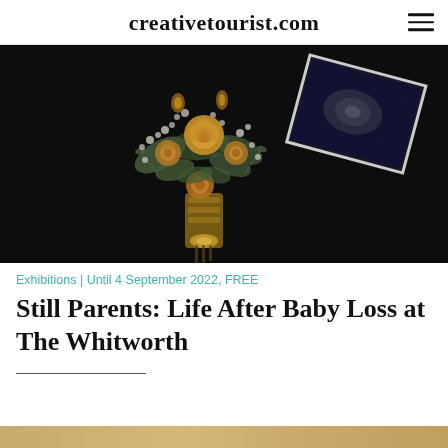creativetourist.com
[Figure (photo): A bouquet of dried flowers with yellow roses and baby's breath tied with twine ribbon, placed against a dark background with a partially visible ultrasound scan image in the upper right corner.]
Exhibitions | Until 4 September 2022, FREE
Still Parents: Life After Baby Loss at The Whitworth